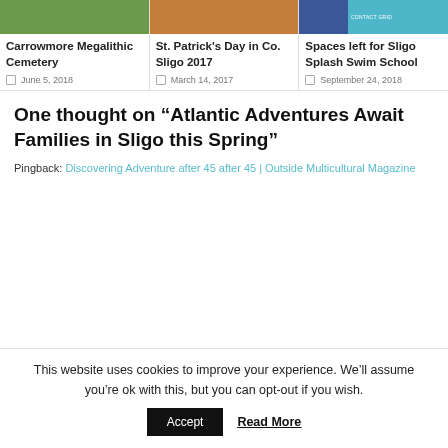[Figure (photo): Green grass background image for Carrowmore Megalithic Cemetery card]
Carrowmore Megalithic Cemetery
June 5, 2018
[Figure (photo): People in colorful traditional clothing for St. Patrick's Day card]
St. Patrick's Day in Co. Sligo 2017
March 14, 2017
[Figure (screenshot): Social media icons – Facebook blue and teal contact button]
Spaces left for Sligo Splash Swim School
September 24, 2018
One thought on “Atlantic Adventures Await Families in Sligo this Spring”
Pingback: Discovering Adventure after 45 after 45 | Outside Multicultural Magazine
This website uses cookies to improve your experience. We’ll assume you’re ok with this, but you can opt-out if you wish.
Accept
Read More